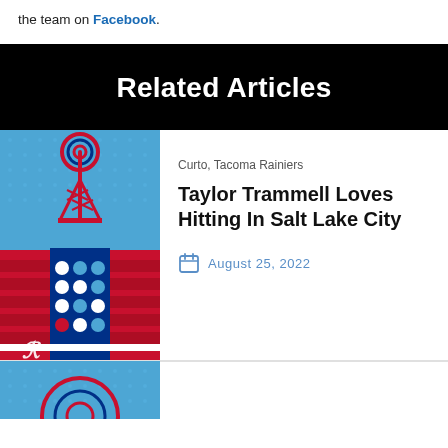the team on Facebook.
Related Articles
[Figure (illustration): Tacoma Rainiers themed illustration with radio tower, stadium, and R logo on blue, red, and navy background]
Curto, Tacoma Rainiers
Taylor Trammell Loves Hitting In Salt Lake City
August 25, 2022
[Figure (illustration): Partial Tacoma Rainiers illustration showing radio tower top on blue background]